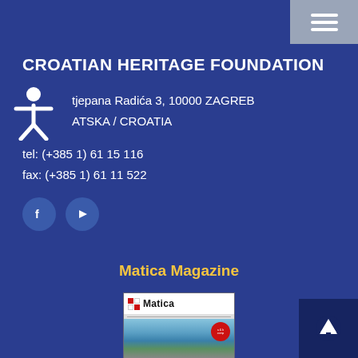CROATIAN HERITAGE FOUNDATION
Trg Stjepana Radića 3, 10000 ZAGREB
HRVATSKA / CROATIA
tel: (+385 1) 61 15 116
fax: (+385 1) 61 11 522
[Figure (illustration): Social media buttons: Facebook (f) and YouTube icons in circular dark blue buttons]
Matica Magazine
[Figure (photo): Cover of Matica magazine showing aerial coastal landscape photo with red checkerboard logo and red circular badge]